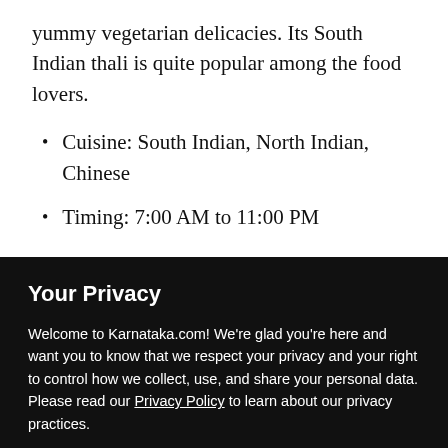yummy vegetarian delicacies. Its South Indian thali is quite popular among the food lovers.
Cuisine: South Indian, North Indian, Chinese
Timing: 7:00 AM to 11:00 PM
Your Privacy
Welcome to Karnataka.com! We’re glad you’re here and want you to know that we respect your privacy and your right to control how we collect, use, and share your personal data. Please read our Privacy Policy to learn about our privacy practices.
I UNDERSTAND